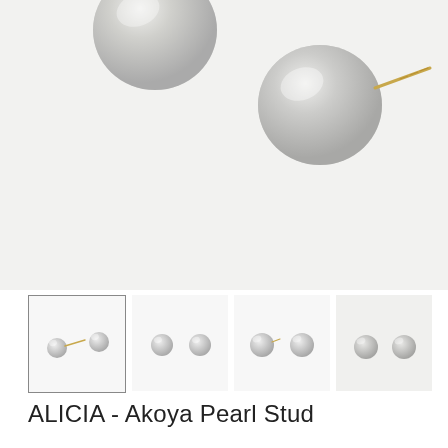[Figure (photo): Close-up product photo of two Akoya pearl stud earrings on a white/light gray background. One pearl is shown from above and one at an angle with a gold post visible.]
[Figure (photo): Thumbnail 1 (selected, bordered): Two small white pearl studs with gold posts on white background.]
[Figure (photo): Thumbnail 2: Two small white pearl studs on white background.]
[Figure (photo): Thumbnail 3: Two small white pearl studs, slightly larger, on white background.]
[Figure (photo): Thumbnail 4: Two small white pearl studs on white background.]
ALICIA - Akoya Pearl Stud